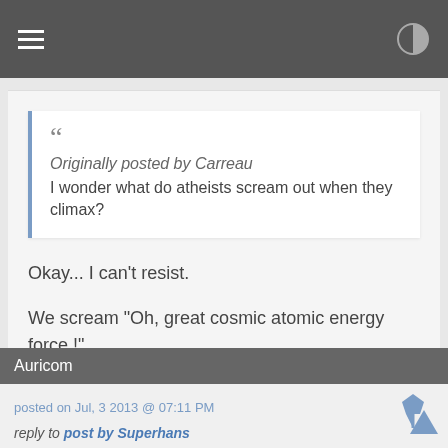Originally posted by Carreau
I wonder what do atheists scream out when they climax?
Okay... I can't resist.

We scream "Oh, great cosmic atomic energy force !"
Auricom
posted on Jul, 3 2013 @ 07:11 PM
reply to post by Superhans